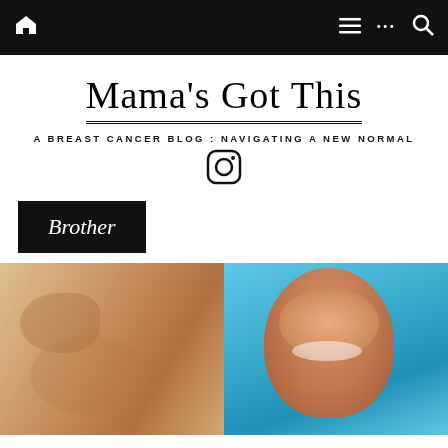Navigation bar with home icon, menu, more, and search icons
Mama's Got This
A BREAST CANCER BLOG : NAVIGATING A NEW NORMAL
[Figure (logo): Instagram icon]
Brother
[Figure (photo): Two photos side by side: left shows a close-up of a baby's face, right shows a smiling baby in a blue inflatable pool]